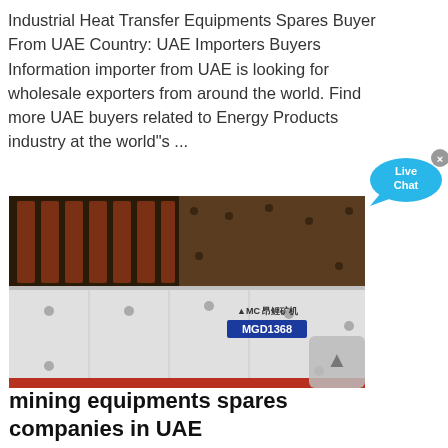Industrial Heat Transfer Equipments Spares Buyer From UAE Country: UAE Importers Buyers Information importer from UAE is looking for wholesale exporters from around the world. Find more UAE buyers related to Energy Products industry at the world"s ...
[Figure (photo): Photo of an industrial mining equipment (MGD1368) — a white rectangular machine with ribbed dark metal conveyor surface, branded with AHC logo, model label MGD1368 in blue.]
mining equipments spares companies in UAE